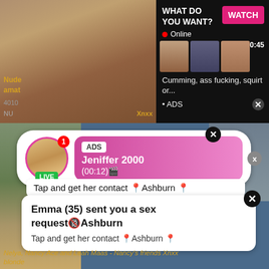[Figure (screenshot): Adult content advertisement showing a woman and thumbnail images with 'WHAT DO YOU WANT?' text and WATCH button]
WHAT DO YOU WANT?
WATCH
Online
0:45
Cumming, ass fucking, squirt or...
• ADS
Nude amat
4010
Xnxx
[Figure (screenshot): Live popup ad showing avatar with LIVE badge, ADS tag, Jeniffer 2000 (00:12) notification in pink gradient bubble]
ADS
Jeniffer 2000
(00:12)🎬
LIVE
1
Tap and get her contact 📍Ashburn 📍
Emma (35) sent you a sex request🔞Ashburn
Tap and get her contact 📍Ashburn 📍
Nelya, Nancy Ace and Leah Maas - Nancy's friends Xnxx blonde